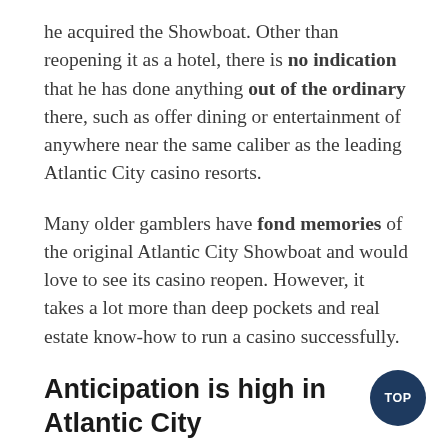he acquired the Showboat. Other than reopening it as a hotel, there is no indication that he has done anything out of the ordinary there, such as offer dining or entertainment of anywhere near the same caliber as the leading Atlantic City casino resorts.
Many older gamblers have fond memories of the original Atlantic City Showboat and would love to see its casino reopen. However, it takes a lot more than deep pockets and real estate know-how to run a casino successfully.
Anticipation is high in Atlantic City